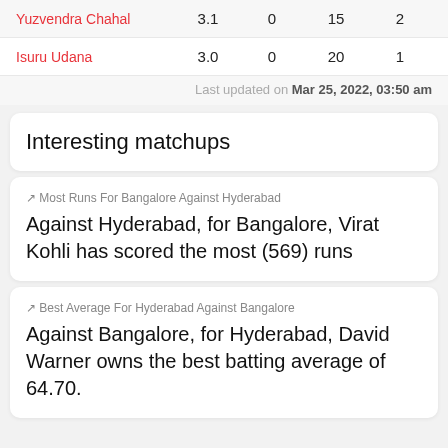| Player | Overs | Maidens | Runs | Wickets |
| --- | --- | --- | --- | --- |
| Yuzvendra Chahal | 3.1 | 0 | 15 | 2 |
| Isuru Udana | 3.0 | 0 | 20 | 1 |
Last updated on Mar 25, 2022, 03:50 am
Interesting matchups
Most Runs For Bangalore Against Hyderabad
Against Hyderabad, for Bangalore, Virat Kohli has scored the most (569) runs
Best Average For Hyderabad Against Bangalore
Against Bangalore, for Hyderabad, David Warner owns the best batting average of 64.70.